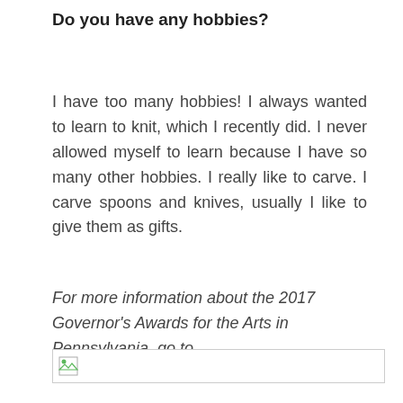Do you have any hobbies?
I have too many hobbies! I always wanted to learn to knit, which I recently did. I never allowed myself to learn because I have so many other hobbies. I really like to carve. I carve spoons and knives, usually I like to give them as gifts.
For more information about the 2017 Governor's Awards for the Arts in Pennsylvania, go to www.pagovartslanc.com.
[Figure (photo): Broken image placeholder with small image icon]